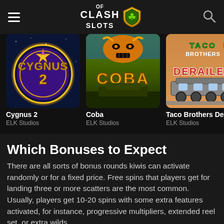Clash of Slots
[Figure (screenshot): Game card thumbnail: Cygnus 2 slot game by ELK Studios - purple and gold cosmic themed logo]
Cygnus 2
ELK Studios
[Figure (screenshot): Game card thumbnail: Coba slot game by ELK Studios - Mayan/jungle themed logo]
Coba
ELK Studios
[Figure (screenshot): Game card thumbnail: Taco Brothers Derailed slot game by ELK Studios - western train themed logo]
Taco Brothers Derailed
ELK Studios
Which Bonuses to Expect
There are all sorts of bonus rounds kiwis can activate randomly or for a fixed price. Free spins that players get for landing three or more scatters are the most common. Usually, players get 10-20 spins with some extra features activated, for instance, progressive multipliers, extended reel set, or extra wilds.